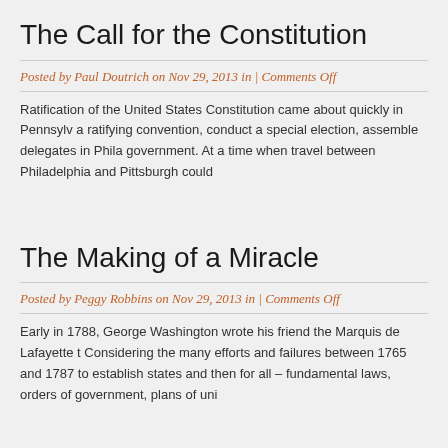The Call for the Constitution
Posted by Paul Doutrich on Nov 29, 2013 in | Comments Off
Ratification of the United States Constitution came about quickly in Pennsylvania, a ratifying convention, conduct a special election, assemble delegates in Philadelphia government. At a time when travel between Philadelphia and Pittsburgh could
The Making of a Miracle
Posted by Peggy Robbins on Nov 29, 2013 in | Comments Off
Early in 1788, George Washington wrote his friend the Marquis de Lafayette t Considering the many efforts and failures between 1765 and 1787 to establish states and then for all – fundamental laws, orders of government, plans of uni